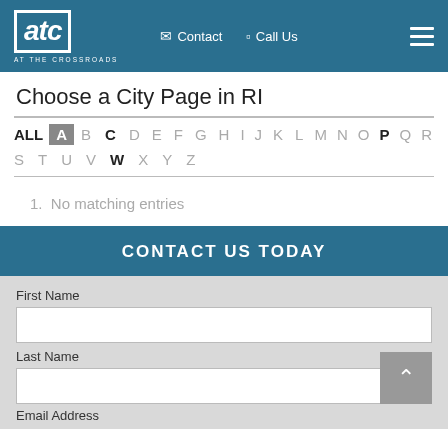ATC AT THE CROSSROADS — Contact | Call Us
Choose a City Page in RI
ALL A B C D E F G H I J K L M N O P Q R S T U V W X Y Z
1. No matching entries
CONTACT US TODAY
First Name
Last Name
Email Address